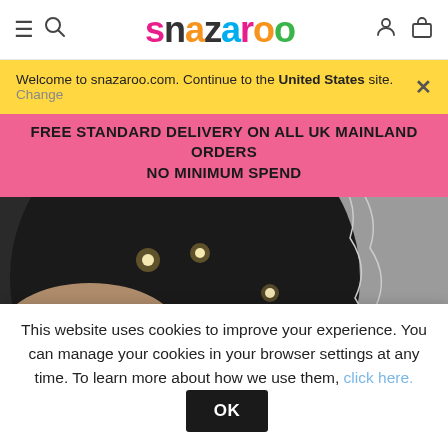snazaroo
Welcome to snazaroo.com. Continue to the United States site. Change ×
FREE STANDARD DELIVERY ON ALL UK MAINLAND ORDERS NO MINIMUM SPEND
[Figure (photo): Close-up photo of hands holding a dark circular disc with small LED fairy lights inserted through holes, with more fairy lights on a white surface in the background. A round white object is visible at the bottom.]
This website uses cookies to improve your experience. You can manage your cookies in your browser settings at any time. To learn more about how we use them, click here. OK